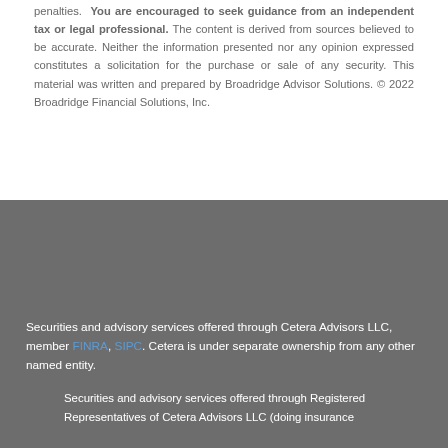penalties. You are encouraged to seek guidance from an independent tax or legal professional. The content is derived from sources believed to be accurate. Neither the information presented nor any opinion expressed constitutes a solicitation for the purchase or sale of any security. This material was written and prepared by Broadridge Advisor Solutions. © 2022 Broadridge Financial Solutions, Inc.
Securities and advisory services offered through Cetera Advisors LLC, member FINRA, SIPC. Cetera is under separate ownership from any other named entity.
Securities and advisory services offered through Registered Representatives of Cetera Advisors LLC (doing insurance